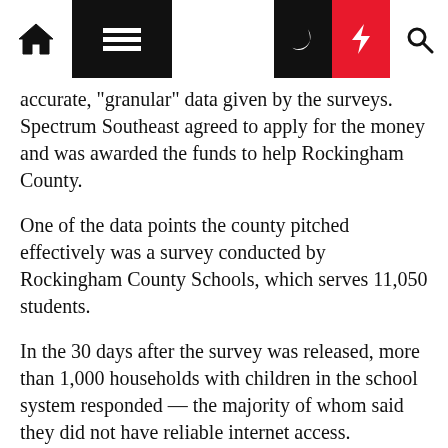Navigation bar with home, menu, dark mode, lightning/flash, and search icons
accurate, "granular" data given by the surveys. Spectrum Southeast agreed to apply for the money and was awarded the funds to help Rockingham County.
One of the data points the county pitched effectively was a survey conducted by Rockingham County Schools, which serves 11,050 students.
In the 30 days after the survey was released, more than 1,000 households with children in the school system responded — the majority of whom said they did not have reliable internet access.
Those RCS survey results were "instrumental" in helping the county receive the GREAT grant, Southern said.
Tara Martin is the mother of two Stoneville